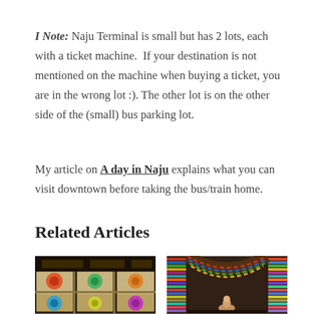I Note: Naju Terminal is small but has 2 lots, each with a ticket machine.  If your destination is not mentioned on the machine when buying a ticket, you are in the wrong lot :). The other lot is on the other side of the (small) bus parking lot.
My article on A day in Naju explains what you can visit downtown before taking the bus/train home.
Related Articles
[Figure (photo): Photo of colorful hair ties/donuts in market bins]
[Figure (photo): Photo of a bookstore/library with shelves of colorful books lining curved walls, person visible]